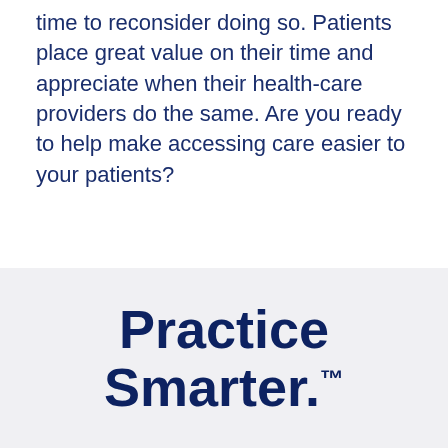time to reconsider doing so. Patients place great value on their time and appreciate when their health-care providers do the same. Are you ready to help make accessing care easier to your patients?
Practice Smarter.™